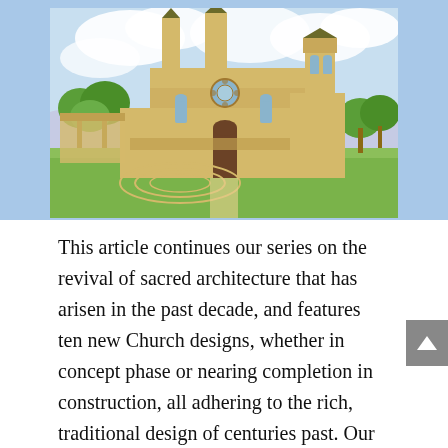[Figure (illustration): Watercolor illustration of a Gothic-style cathedral with tall spires, arched windows, a rose window, and surrounding grounds with trees and a curved driveway or amphitheater structure in the foreground. Painted in soft pastel tones with a light blue sky and clouds.]
This article continues our series on the revival of sacred architecture that has arisen in the past decade, and features ten new Church designs, whether in concept phase or nearing completion in construction, all adhering to the rich, traditional design of centuries past. Our previous article, which highlighted church